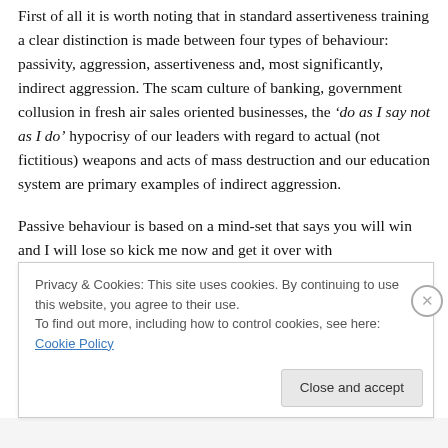First of all it is worth noting that in standard assertiveness training a clear distinction is made between four types of behaviour: passivity, aggression, assertiveness and, most significantly, indirect aggression. The scam culture of banking, government collusion in fresh air sales oriented businesses, the ‘do as I say not as I do’ hypocrisy of our leaders with regard to actual (not fictitious) weapons and acts of mass destruction and our education system are primary examples of indirect aggression.
Passive behaviour is based on a mind-set that says you will win and I will lose so kick me now and get it over with
Privacy & Cookies: This site uses cookies. By continuing to use this website, you agree to their use.
To find out more, including how to control cookies, see here: Cookie Policy